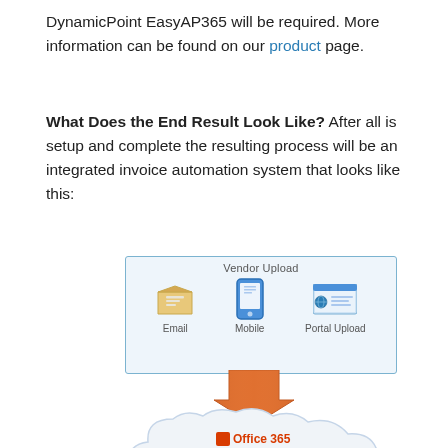DynamicPoint EasyAP365 will be required. More information can be found on our product page.
What Does the End Result Look Like? After all is setup and complete the resulting process will be an integrated invoice automation system that looks like this:
[Figure (infographic): Diagram showing invoice automation system: Vendor Upload box with Email, Mobile, and Portal Upload icons, an orange downward arrow, and a cloud containing Office 365, SharePoint logos and other icons below.]